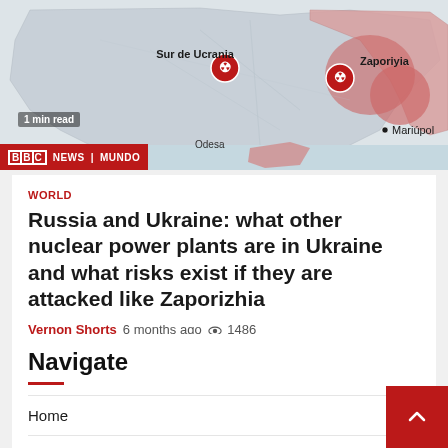[Figure (map): Map of southern Ukraine showing nuclear plant locations near Sur de Ucrania, Zaporiyia, and Mariupol. Red areas indicate Russian-controlled territory. BBC News Mundo branding bar at bottom of map.]
WORLD
Russia and Ukraine: what other nuclear power plants are in Ukraine and what risks exist if they are attacked like Zaporizhia
Vernon Shorts  6 months ago  👁 1486
Navigate
Home
Top News
World
Economy